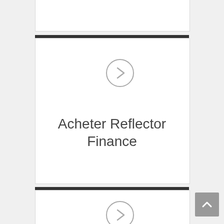[Figure (other): Partial top card – white card with border, bottom portion visible]
[Figure (other): Card with circular arrow icon and text 'Acheter Reflector Finance']
Acheter Reflector Finance
[Figure (other): Partial bottom card with circular arrow icon, top portion visible]
[Figure (other): Scroll-to-top button (grey square with upward chevron)]